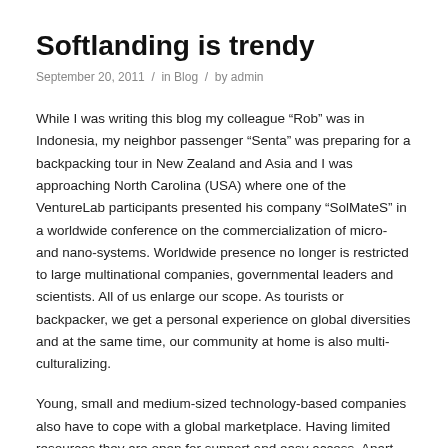Softlanding is trendy
September 20, 2011  /  in Blog  /  by admin
While I was writing this blog my colleague “Rob” was in Indonesia, my neighbor passenger “Senta” was preparing for a backpacking tour in New Zealand and Asia and I was approaching North Carolina (USA) where one of the VentureLab participants presented his company “SolMateS” in a worldwide conference on the commercialization of micro- and nano-systems. Worldwide presence no longer is restricted to large multinational companies, governmental leaders and scientists. All of us enlarge our scope. As tourists or backpacker, we get a personal experience on global diversities and at the same time, our community at home is also multi-culturalizing.
Young, small and medium-sized technology-based companies also have to cope with a global marketplace. Having limited resources they are open for support and easy access. Apart from existing support mechanisms like trade missions, fairs